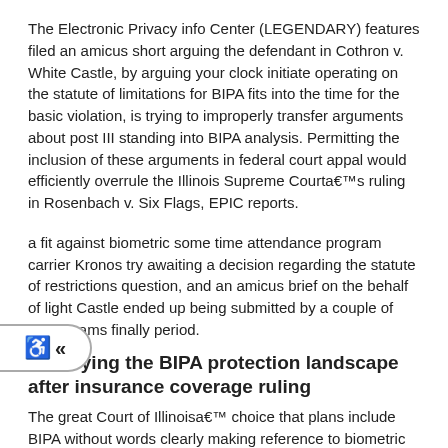The Electronic Privacy info Center (LEGENDARY) features filed an amicus short arguing the defendant in Cothron v. White Castle, by arguing your clock initiate operating on the statute of limitations for BIPA fits into the time for the basic violation, is trying to improperly transfer arguments about post III standing into BIPA analysis. Permitting the inclusion of these arguments in federal court appal would efficiently overrule the Illinois Supreme Courta€™s ruling in Rosenbach v. Six Flags, EPIC reports.
a fit against biometric some time attendance program carrier Kronos try awaiting a decision regarding the statute of restrictions question, and an amicus brief on the behalf of light Castle ended up being submitted by a couple of trade teams finally period.
Surveying the BIPA protection landscape after insurance coverage ruling
The great Court of Illinoisa€™ choice that plans include BIPA without words clearly making reference to biometric data or perhaps the operate by itself has actually far reaching effects, according to a review in Law360.
The ruling means that industrial common liability plans just like the one in concern in West fold Mutual insurance policies Co. v. Krishna